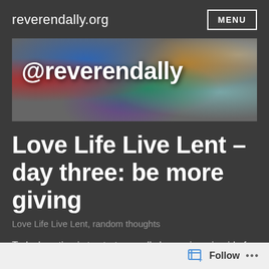reverendally.org
[Figure (illustration): Banner image with colorful abstract/mosaic background and text '@reverendally' in bold white]
Love Life Live Lent – day three: be more giving
Love Life Live Lent, random thoughts
Today's action is to start a small change jar – in aid of any suitable charity – and add to it all through Lent
Follow ...